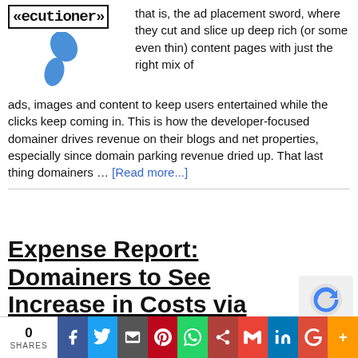[Figure (logo): Executioner logo with border and blue bird/arrow graphic]
that is, the ad placement sword, where they cut and slice up deep rich (or some even thin) content pages with just the right mix of ads, images and content to keep users entertained while the clicks keep coming in. This is how the developer-focused domainer drives revenue on their blogs and net properties, especially since domain parking revenue dried up. That last thing domainers … [Read more...]
Expense Report: Domainers to See Increase in Costs via
[Figure (other): reCAPTCHA widget]
0 SHARES | social share bar: Facebook, Twitter, Email, Pinterest, WhatsApp, Print, Gmail, LinkedIn, Google+, More